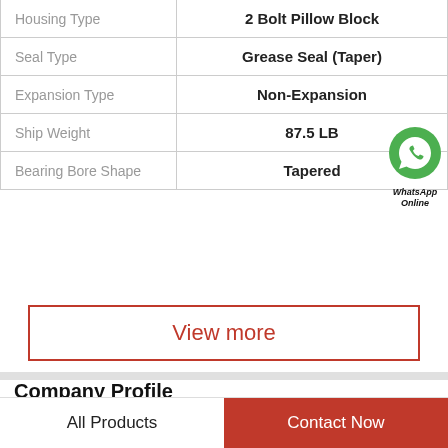| Property | Value |
| --- | --- |
| Housing Type | 2 Bolt Pillow Block |
| Seal Type | Grease Seal (Taper) |
| Expansion Type | Non-Expansion |
| Ship Weight | 87.5 LB |
| Bearing Bore Shape | Tapered |
View more
Company Profile
BTE Bearing Power Machinery Co., Ltd.
All Products
Contact Now